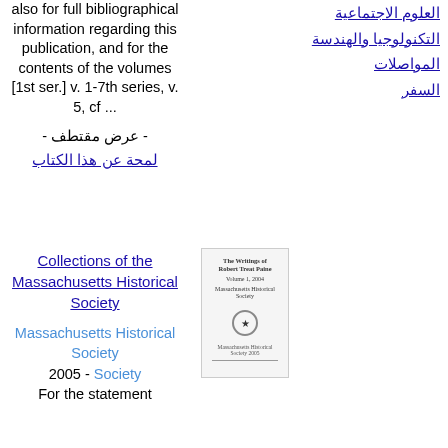also for full bibliographical information regarding this publication, and for the contents of the volumes [1st ser.] v. 1-7th series, v. 5, cf ...
- عرض مقتطف - لمحة عن هذا الكتاب
العلوم الاجتماعية
التكنولوجيا والهندسة
المواصلات
السفر
Collections of the Massachusetts Historical Society
[Figure (photo): Book cover thumbnail for Collections of the Massachusetts Historical Society]
Massachusetts Historical Society
2005 - For the statement